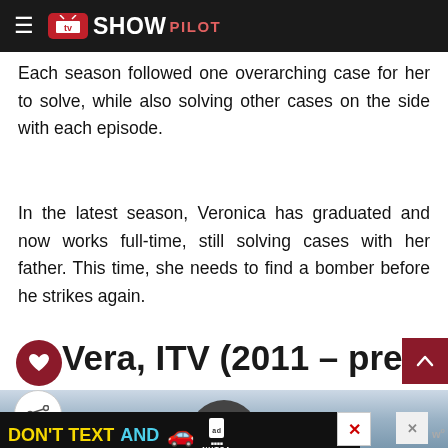TV SHOW PILOT
Each season followed one overarching case for her to solve, while also solving other cases on the side with each episode.
In the latest season, Veronica has graduated and now works full-time, still solving cases with her father. This time, she needs to find a bomber before he strikes again.
Vera, ITV (2011 – present)
[Figure (photo): Partial view of a show image with sky background, partially obscured by an advertisement banner at the bottom.]
DON'T TEXT AND [car emoji] ad NHTSA